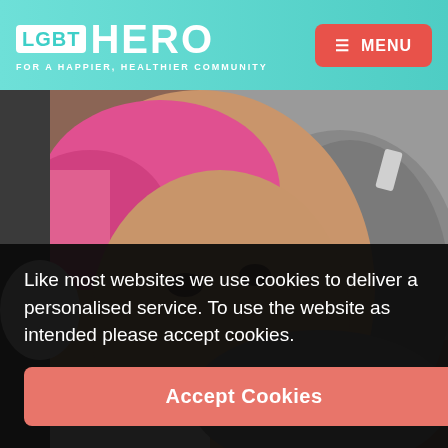[Figure (logo): LGBT HERO logo with tagline 'FOR A HAPPIER, HEALTHIER COMMUNITY' on teal gradient header background]
[Figure (photo): Close-up photo of a young smiling man with pink hair, wearing a grey fleece jacket and yellow/green top, photographed at an angle looking upward]
Like most websites we use cookies to deliver a personalised service. To use the website as intended please accept cookies.
Accept Cookies